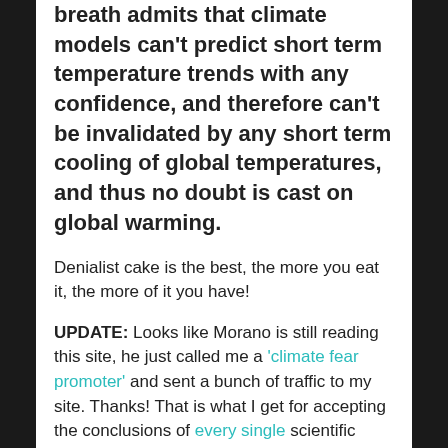breath admits that climate models can't predict short term temperature trends with any confidence, and therefore can't be invalidated by any short term cooling of global temperatures, and thus no doubt is cast on global warming.
Denialist cake is the best, the more you eat it, the more of it you have!
UPDATE: Looks like Morano is still reading this site, he just called me a 'climate fear promoter' and sent a bunch of traffic to my site. Thanks! That is what I get for accepting the conclusions of every single scientific body of national or international standing.
I guess he prefers to pick on the small fish (me) rather than the big dogs (climatologists) who will really tear his arguments apart. That's alright,